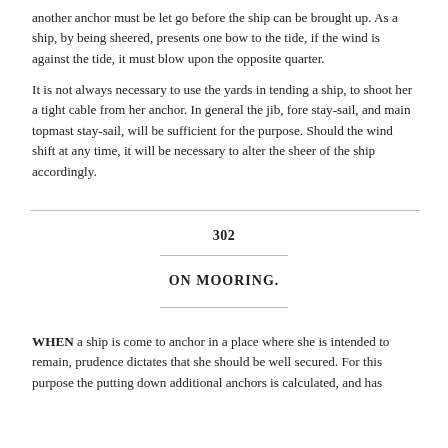another anchor must be let go before the ship can be brought up. As a ship, by being sheered, presents one bow to the tide, if the wind is against the tide, it must blow upon the opposite quarter.
It is not always necessary to use the yards in tending a ship, to shoot her a tight cable from her anchor. In general the jib, fore stay-sail, and main topmast stay-sail, will be sufficient for the purpose. Should the wind shift at any time, it will be necessary to alter the sheer of the ship accordingly.
302
ON MOORING.
WHEN a ship is come to anchor in a place where she is intended to remain, prudence dictates that she should be well secured. For this purpose the putting down additional anchors is calculated, and has